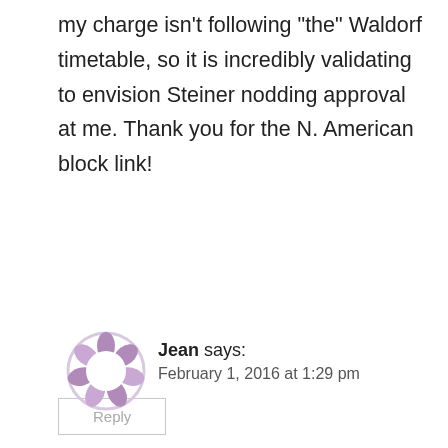my charge isn't following “the” Waldorf timetable, so it is incredibly validating to envision Steiner nodding approval at me. Thank you for the N. American block link!
Reply
Jean says: February 1, 2016 at 1:29 pm